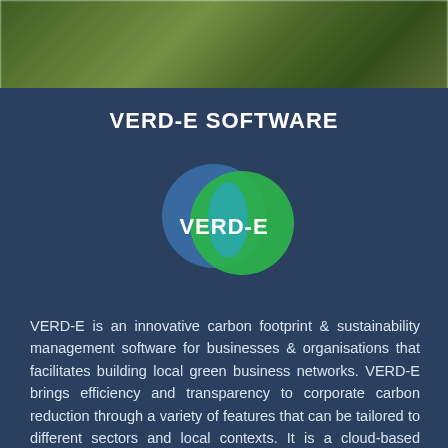[Figure (photo): Blurred green foliage banner photo at top of page]
VERD-E SOFTWARE
[Figure (logo): VERD-E logo with two overlapping circles (blue and green) with VERD-E text in white]
VERD-E is an innovative carbon footprint & sustainability management software for businesses & organisations that facilitates building local green business networks. VERD-E brings efficiency and transparency to corporate carbon reduction through a variety of features that can be tailored to different sectors and local contexts. It is a cloud-based digital platform that provides companies with information, knowledge, skills and customised tools to help them effectively transition into a